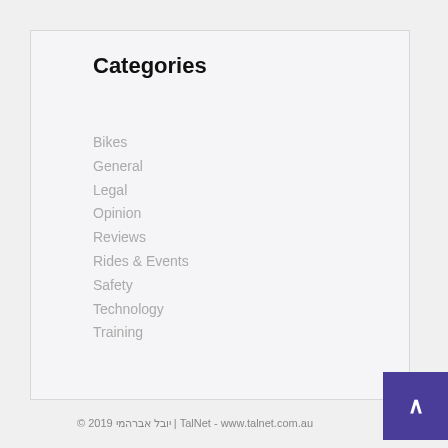Categories
Bikes
General
Legal
Opinion
Reviews
Rides & Events
Safety
Technology
Training
© 2019 יובל אברהמי | TalNet - www.talnet.com.au